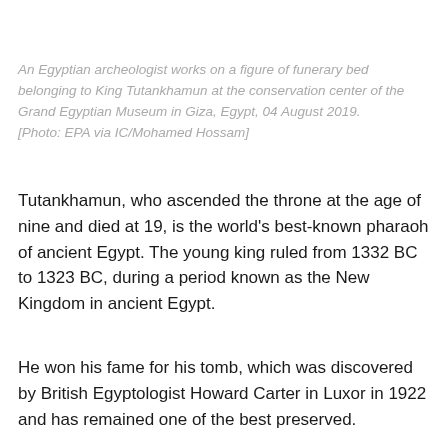An Egyptian archeologist works on a figure of funerary bed belonging to King Tutankhamun at the conservation center of the Grand Egyptian Museum in Giza, Egypt, 04 August 2019. [Photo: EPA via IC/Mohamed Hossam]
Tutankhamun, who ascended the throne at the age of nine and died at 19, is the world's best-known pharaoh of ancient Egypt. The young king ruled from 1332 BC to 1323 BC, during a period known as the New Kingdom in ancient Egypt.
He won his fame for his tomb, which was discovered by British Egyptologist Howard Carter in Luxor in 1922 and has remained one of the best preserved.